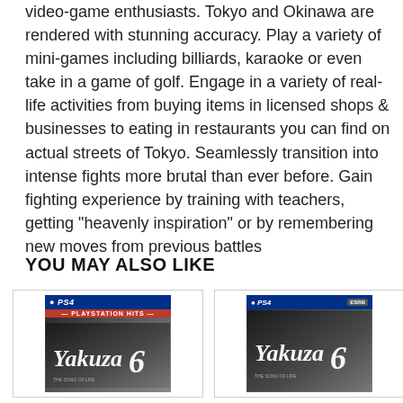video-game enthusiasts. Tokyo and Okinawa are rendered with stunning accuracy. Play a variety of mini-games including billiards, karaoke or even take in a game of golf. Engage in a variety of real-life activities from buying items in licensed shops & businesses to eating in restaurants you can find on actual streets of Tokyo. Seamlessly transition into intense fights more brutal than ever before. Gain fighting experience by training with teachers, getting "heavenly inspiration" or by remembering new moves from previous battles
YOU MAY ALSO LIKE
[Figure (photo): PS4 game cover for Yakuza 6 - PlayStation Hits edition]
[Figure (photo): PS4 game cover for Yakuza 6]